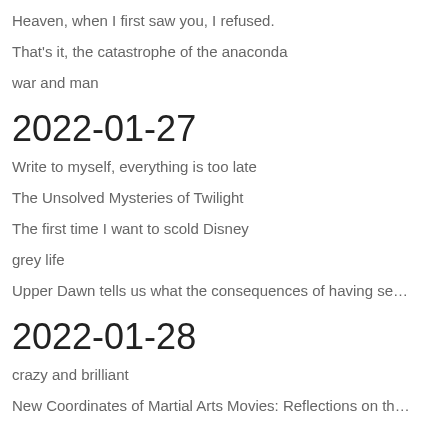Heaven, when I first saw you, I refused.
That's it, the catastrophe of the anaconda
war and man
2022-01-27
Write to myself, everything is too late
The Unsolved Mysteries of Twilight
The first time I want to scold Disney
grey life
Upper Dawn tells us what the consequences of having se…
2022-01-28
crazy and brilliant
New Coordinates of Martial Arts Movies: Reflections on th…